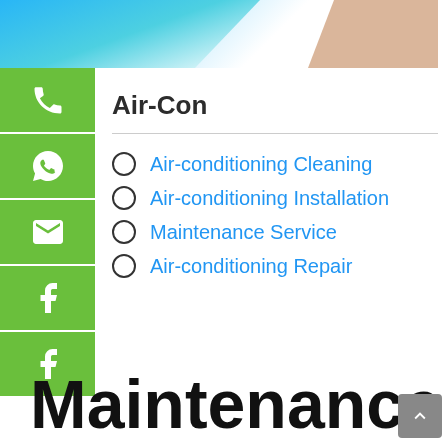[Figure (photo): Top banner with blue diagonal gradient and skin-toned hand/arm visible on the right]
[Figure (illustration): Green sidebar with phone, WhatsApp, email, Facebook, and Facebook icons stacked vertically]
Air-Con
Air-conditioning Cleaning
Air-conditioning Installation
Maintenance Service
Air-conditioning Repair
Maintenance